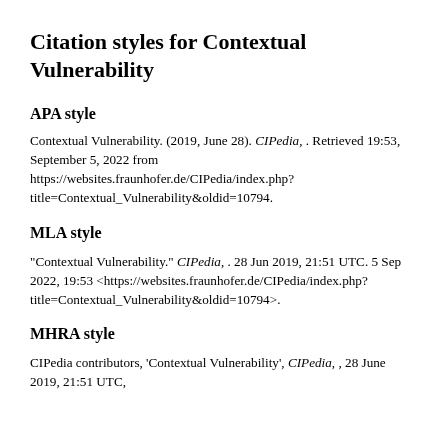Citation styles for Contextual Vulnerability
APA style
Contextual Vulnerability. (2019, June 28). CIPedia, . Retrieved 19:53, September 5, 2022 from https://websites.fraunhofer.de/CIPedia/index.php?title=Contextual_Vulnerability&oldid=10794.
MLA style
"Contextual Vulnerability." CIPedia, . 28 Jun 2019, 21:51 UTC. 5 Sep 2022, 19:53 <https://websites.fraunhofer.de/CIPedia/index.php?title=Contextual_Vulnerability&oldid=10794>.
MHRA style
CIPedia contributors, 'Contextual Vulnerability', CIPedia, , 28 June 2019, 21:51 UTC,